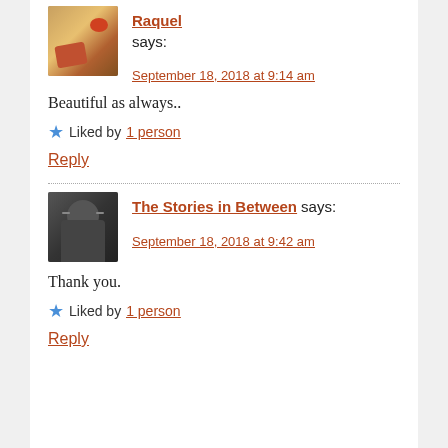Raquel says:
September 18, 2018 at 9:14 am
Beautiful as always..
Liked by 1 person
Reply
The Stories in Between says:
September 18, 2018 at 9:42 am
Thank you.
Liked by 1 person
Reply